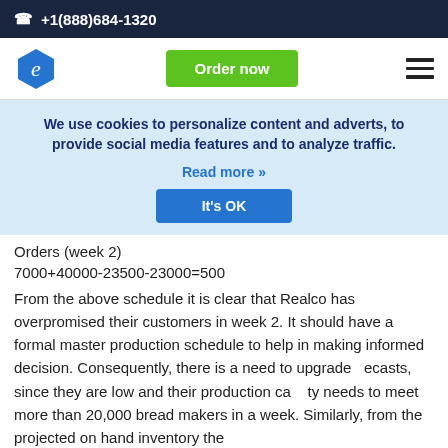+1(888)684-1320
[Figure (logo): Blue hexagon logo with letter 'e' and green 'Order now' button and hamburger menu]
We use cookies to personalize content and adverts, to provide social media features and to analyze traffic.
Read more »
It's OK
Orders (week 2)
From the above schedule it is clear that Realco has overpromised their customers in week 2. It should have a formal master production schedule to help in making informed decision. Consequently, there is a need to upgrade ecasts, since they are low and their production capacity needs to meet more than 20,000 bread makers in a week. Similarly, from the projected on hand inventory the